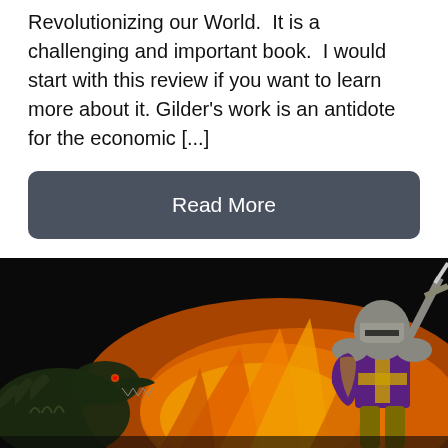Revolutionizing our World.  It is a challenging and important book.  I would start with this review if you want to learn more about it. Gilder's work is an antidote for the economic [...]
Read More
[Figure (illustration): A dark scene showing a dragon or dinosaur skeleton on the left with flames in the center, and a medieval knight in armor holding a sword raised high on the right, against a black and orange fiery background.]